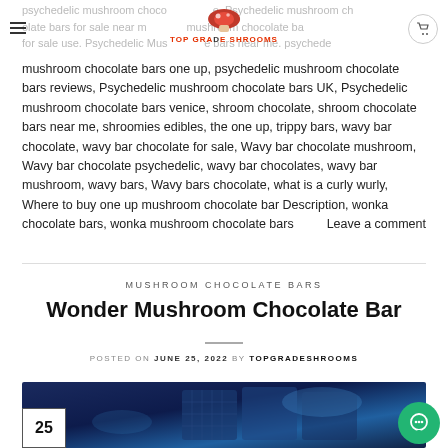TOP GRADE SHROOMS
mushroom chocolate bars one up, psychedelic mushroom chocolate bars reviews, Psychedelic mushroom chocolate bars UK, Psychedelic mushroom chocolate bars venice, shroom chocolate, shroom chocolate bars near me, shroomies edibles, the one up, trippy bars, wavy bar chocolate, wavy bar chocolate for sale, Wavy bar chocolate mushroom, Wavy bar chocolate psychedelic, wavy bar chocolates, wavy bar mushroom, wavy bars, Wavy bars chocolate, what is a curly wurly, Where to buy one up mushroom chocolate bar Description, wonka chocolate bars, wonka mushroom chocolate bars Leave a comment
MUSHROOM CHOCOLATE BARS
Wonder Mushroom Chocolate Bar
POSTED ON JUNE 25, 2022 BY TOPGRADESHROOMS
[Figure (photo): Dark blue/purple chocolate bars product photo with date badge showing 25]